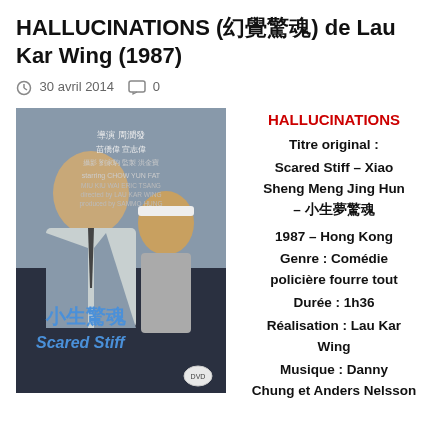HALLUCINATIONS (幻覺驚魂) de Lau Kar Wing (1987)
30 avril 2014  0
[Figure (photo): DVD cover of 'Scared Stiff' (小生夢驚魂) featuring Chow Yun Fat and other actors, directed by Lau Kar Wing, produced by Sammo Hung]
HALLUCINATIONS
Titre original : Scared Stiff – Xiao Sheng Meng Jing Hun – 小生夢驚魂
1987 – Hong Kong
Genre : Comédie policière fourre tout
Durée : 1h36
Réalisation : Lau Kar Wing
Musique : Danny Chung et Anders Nelsson